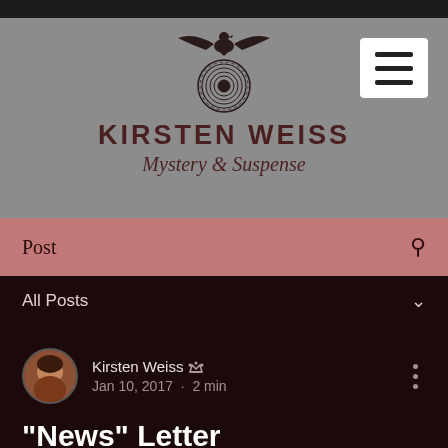[Figure (logo): Kirsten Weiss website header with eagle and circular logo graphic, site name KIRSTEN WEISS and subtitle Mystery & Suspense on grey background, with hamburger menu button]
Post
All Posts
Kirsten Weiss
Jan 10, 2017 · 2 min
"News" Letter